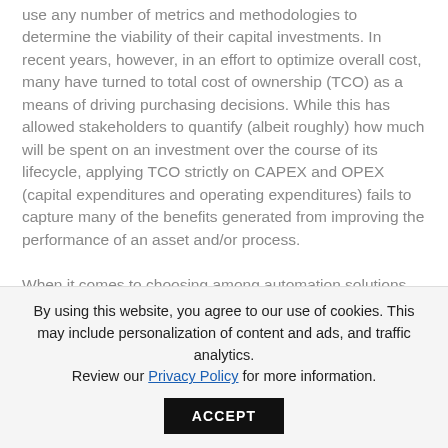use any number of metrics and methodologies to determine the viability of their capital investments. In recent years, however, in an effort to optimize overall cost, many have turned to total cost of ownership (TCO) as a means of driving purchasing decisions. While this has allowed stakeholders to quantify (albeit roughly) how much will be spent on an investment over the course of its lifecycle, applying TCO strictly on CAPEX and OPEX (capital expenditures and operating expenditures) fails to capture many of the benefits generated from improving the performance of an asset and/or process.

When it comes to choosing among automation solutions, using TCO as the sole metric for
By using this website, you agree to our use of cookies. This may include personalization of content and ads, and traffic analytics.
Review our Privacy Policy for more information.